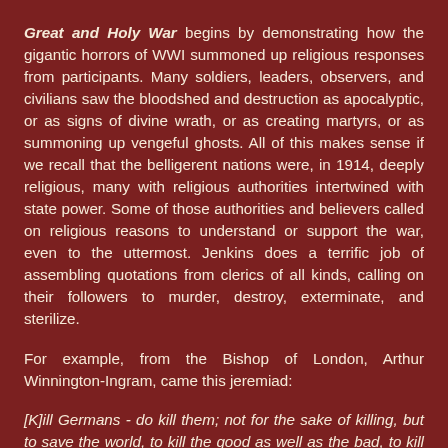Great and Holy War begins by demonstrating how the gigantic horrors of WWI summoned up religious responses from participants. Many soldiers, leaders, observers, and civilians saw the bloodshed and destruction as apocalyptic, or as signs of divine wrath, or as creating martyrs, or as summoning up vengeful ghosts. All of this makes sense if we recall that the belligerent nations were, in 1914, deeply religious, many with religious authorities intertwined with state power. Some of those authorities and believers called on religious reasons to understand or support the war, even to the uttermost. Jenkins does a terrific job of assembling quotations from clerics of all kinds, calling on their followers to murder, destroy, exterminate, and sterilize.
For example, from the Bishop of London, Arthur Winnington-Ingram, came this jeremiad:
[K]ill Germans - do kill them; not for the sake of killing, but to save the world, to kill the good as well as the bad, to kill the young as well as the old, to kill those who have shown kindness to our wounded as well as those fiends... I look